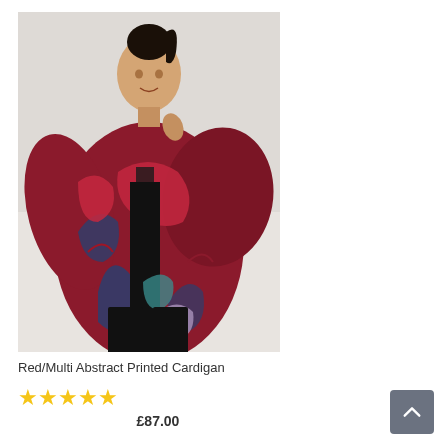[Figure (photo): Woman wearing a Red/Multi Abstract Printed Cardigan with bold red and navy blue swirling pattern, black top and black pants, posing against a light gray background.]
Red/Multi Abstract Printed Cardigan
★★★★★
£87.00